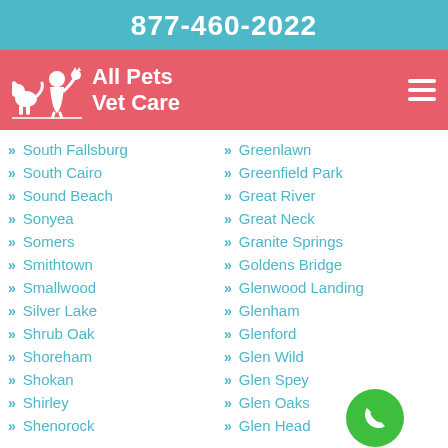877-460-2022
[Figure (logo): All Pets Vet Care logo with silhouette of pets and owner on salmon/red background]
South Fallsburg
South Cairo
Sound Beach
Sonyea
Somers
Smithtown
Smallwood
Silver Lake
Shrub Oak
Shoreham
Shokan
Shirley
Shenorock
Greenlawn
Greenfield Park
Great River
Great Neck
Granite Springs
Goldens Bridge
Glenwood Landing
Glenham
Glenford
Glen Wild
Glen Spey
Glen Oaks
Glen Head